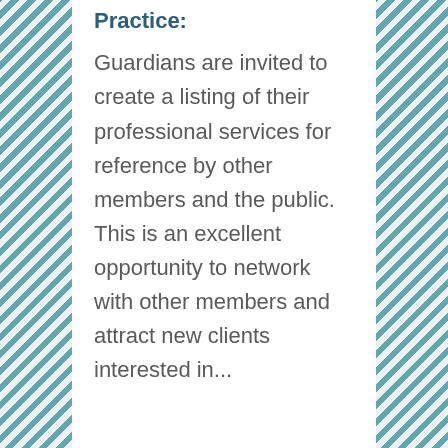Practice:
Guardians are invited to create a listing of their professional services for reference by other members and the public. This is an excellent opportunity to network with other members and attract new clients interested in...